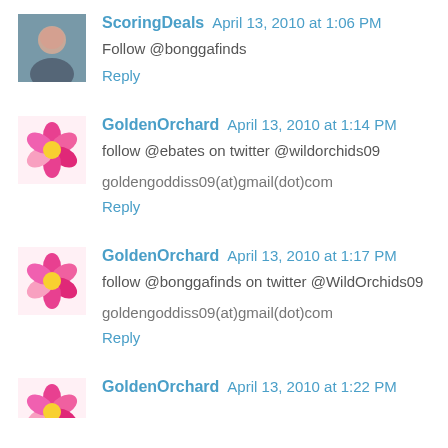ScoringDeals  April 13, 2010 at 1:06 PM
Follow @bonggafinds
Reply
GoldenOrchard  April 13, 2010 at 1:14 PM
follow @ebates on twitter @wildorchids09
goldengoddiss09(at)gmail(dot)com
Reply
GoldenOrchard  April 13, 2010 at 1:17 PM
follow @bonggafinds on twitter @WildOrchids09
goldengoddiss09(at)gmail(dot)com
Reply
GoldenOrchard  April 13, 2010 at 1:22 PM